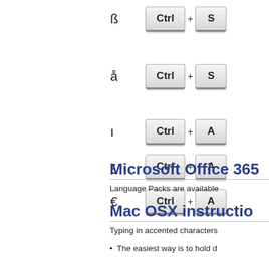ß  Ctrl + S
å  Ctrl + S
ı  Ctrl + A
¿  Ctrl + A
€  Ctrl + A
Microsoft Office 365
Language Packs are available
Mac OSX instructio
Typing in accented characters
The easiest way is to hold d